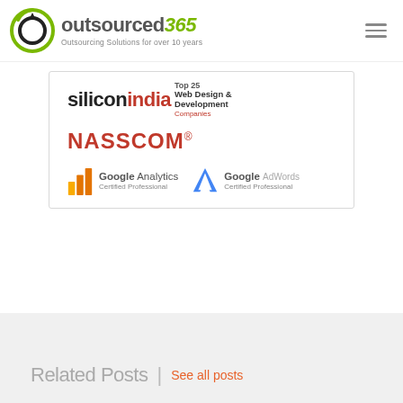[Figure (logo): Outsourced365 logo with green circular icon and tagline 'Outsourcing Solutions for over 10 years']
[Figure (infographic): Badge box showing: Silicon India Top 25 Web Design & Development Companies, NASSCOM member badge, Google Analytics Certified Professional badge, Google AdWords Certified Professional badge]
Related Posts | See all posts